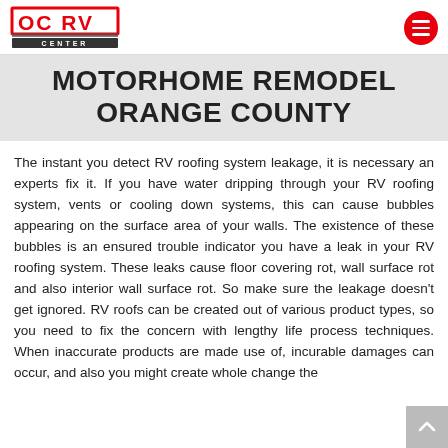OC RV CENTER [logo with menu button]
MOTORHOME REMODEL ORANGE COUNTY
The instant you detect RV roofing system leakage, it is necessary an experts fix it. If you have water dripping through your RV roofing system, vents or cooling down systems, this can cause bubbles appearing on the surface area of your walls. The existence of these bubbles is an ensured trouble indicator you have a leak in your RV roofing system. These leaks cause floor covering rot, wall surface rot and also interior wall surface rot. So make sure the leakage doesn't get ignored. RV roofs can be created out of various product types, so you need to fix the concern with lengthy life process techniques. When inaccurate products are made use of, incurable damages can occur, and also you might create whole change the